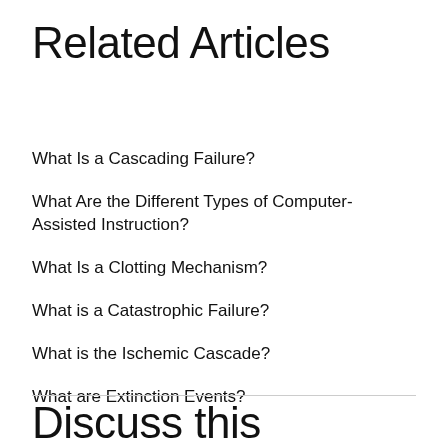Related Articles
What Is a Cascading Failure?
What Are the Different Types of Computer-Assisted Instruction?
What Is a Clotting Mechanism?
What is a Catastrophic Failure?
What is the Ischemic Cascade?
What are Extinction Events?
Discuss this